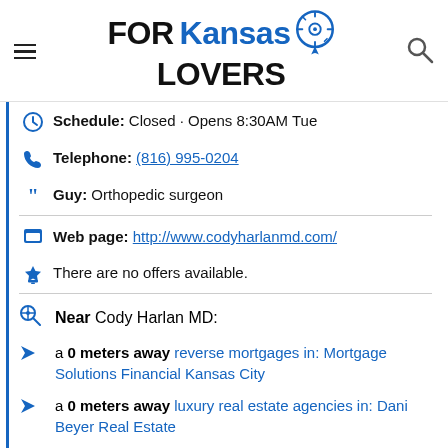FOR Kansas LOVERS
Schedule: Closed · Opens 8:30AM Tue
Telephone: (816) 995-0204
Guy: Orthopedic surgeon
Web page: http://www.codyharlanmd.com/
There are no offers available.
Near Cody Harlan MD:
a 0 meters away reverse mortgages in: Mortgage Solutions Financial Kansas City
a 0 meters away luxury real estate agencies in: Dani Beyer Real Estate
a 0 meters away consultants: Dynamic Consultants Group